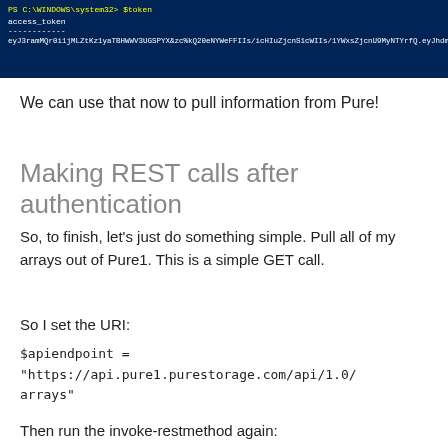[Figure (screenshot): PowerShell terminal window showing 'PS C:\WINDOWS\system32> $token' command and access_token output with a long JWT string.]
We can use that now to pull information from Pure!
Making REST calls after authentication
So, to finish, let’s just do something simple. Pull all of my arrays out of Pure1. This is a simple GET call.
So I set the URI:
Then run the invoke-restmethod again: